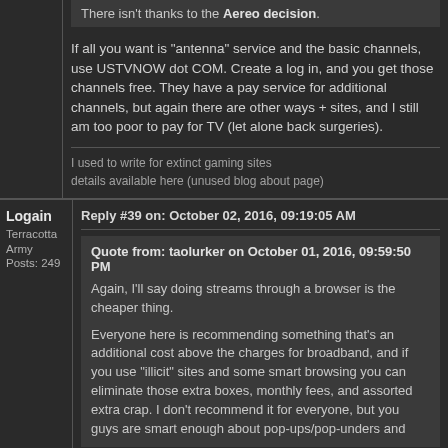There isn't thanks to the Aereo decision.
If all you want is "antenna" service and the basic channels, use USTVNOW dot COM. Create a log in, and you get those channels free. They have a pay service for additional channels, but again there are other ways + sites, and I still am too poor to pay for TV (let alone back surgeries).
I used to write for extinct gaming sites
details available here (unused blog about page)
Logain
Terracotta Army
Posts: 249
Reply #39 on: October 02, 2016, 09:19:05 AM
Quote from: taolurker on October 01, 2016, 09:59:50 PM
Again, I'll say doing streams through a browser is the cheaper thing.

Everyone here is recommending something that's an additional cost above the charges for broadband, and if you use "illicit" sites and some smart browsing you can eliminate those extra boxes, monthly fees, and assorted extra crap. I don't recommend it for everyone, but you guys are smart enough about pop-ups/pop-unders and